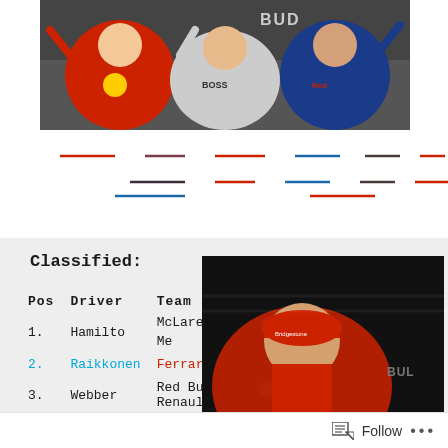[Figure (photo): Three F1 drivers celebrating on podium, wearing Ferrari, McLaren-Mercedes, and Red Bull racing suits, waving to crowd. BUDAPEST text visible in background.]
[Figure (other): Decorative colored horizontal divider lines in red, blue, and dark colors arranged in two rows]
Classified:
| Pos | Driver | Team |
| --- | --- | --- |
| 1. | Hamilton | McLaren-Mercedes |
| 2. | Raikkonen | Ferrari |
| 3. | Webber | Red Bull-Renault |
[Figure (photo): Close-up of F1 driver wearing red Bridgestone cap and Ferrari gear, with F1 logo visible in background and BUDAPEST signage]
Follow ...